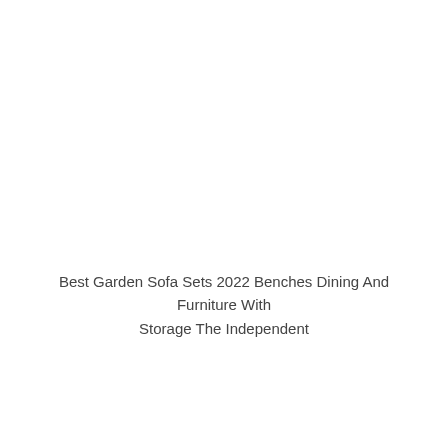Best Garden Sofa Sets 2022 Benches Dining And Furniture With Storage The Independent